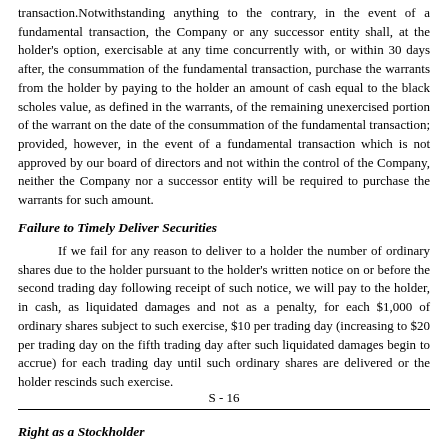transaction.Notwithstanding anything to the contrary, in the event of a fundamental transaction, the Company or any successor entity shall, at the holder's option, exercisable at any time concurrently with, or within 30 days after, the consummation of the fundamental transaction, purchase the warrants from the holder by paying to the holder an amount of cash equal to the black scholes value, as defined in the warrants, of the remaining unexercised portion of the warrant on the date of the consummation of the fundamental transaction; provided, however, in the event of a fundamental transaction which is not approved by our board of directors and not within the control of the Company, neither the Company nor a successor entity will be required to purchase the warrants for such amount.
Failure to Timely Deliver Securities
If we fail for any reason to deliver to a holder the number of ordinary shares due to the holder pursuant to the holder's written notice on or before the second trading day following receipt of such notice, we will pay to the holder, in cash, as liquidated damages and not as a penalty, for each $1,000 of ordinary shares subject to such exercise, $10 per trading day (increasing to $20 per trading day on the fifth trading day after such liquidated damages begin to accrue) for each trading day until such ordinary shares are delivered or the holder rescinds such exercise.
S - 16
Right as a Stockholder